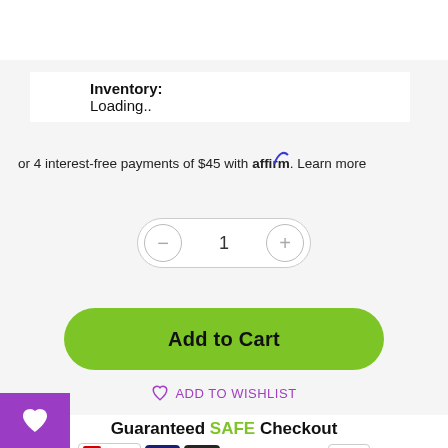Inventory: Loading..
or 4 interest-free payments of $45 with affirm. Learn more
[Figure (screenshot): Quantity selector with minus button, number 1, and plus button]
[Figure (screenshot): Green Add to Cart button]
ADD TO WISHLIST
[Figure (screenshot): Guaranteed SAFE Checkout section with McAfee SECURE badge and payment logos: VISA, MasterCard, American Express, Discover, PayPal]
[Figure (screenshot): Purple heart button in bottom left corner and trust badge icons row below]